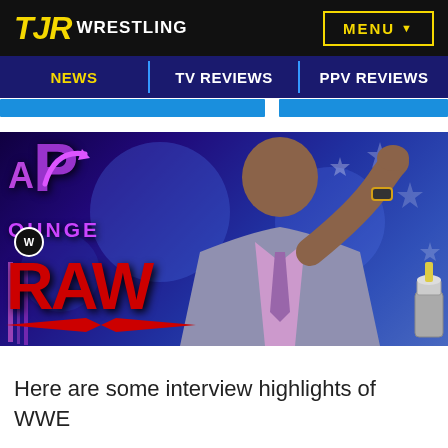TJR WRESTLING
NEWS | TV REVIEWS | PPV REVIEWS
[Figure (photo): Man in purple suit and tie gesturing with hand, seated at WWE RAP Lounge set with WWE RAW logo in background]
Here are some interview highlights of WWE